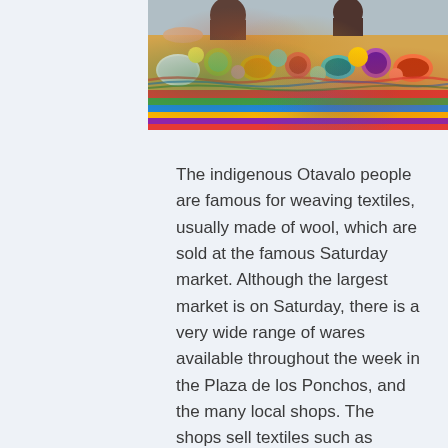[Figure (photo): Colorful market stalls with textiles, crafts, and wares displayed on tables, showing people browsing an outdoor market. Vibrant colors including greens, reds, blues, and yellows.]
The indigenous Otavalo people are famous for weaving textiles, usually made of wool, which are sold at the famous Saturday market. Although the largest market is on Saturday, there is a very wide range of wares available throughout the week in the Plaza de los Ponchos, and the many local shops. The shops sell textiles such as handmade blankets, tablecloths, and much more.
QUITO AND MITAD DEL MUNDO.